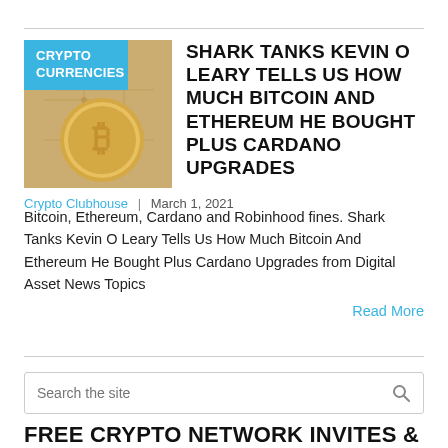[Figure (photo): Bitcoin coin on circuit board background with 'CRYPTO CURRENCIES' label overlay in blue]
SHARK TANKS KEVIN O LEARY TELLS US HOW MUCH BITCOIN AND ETHEREUM HE BOUGHT PLUS CARDANO UPGRADES
Crypto Clubhouse | March 1, 2021
Bitcoin, Ethereum, Cardano and Robinhood fines. Shark Tanks Kevin O Leary Tells Us How Much Bitcoin And Ethereum He Bought Plus Cardano Upgrades from Digital Asset News Topics
Read More
Search the site
FREE CRYPTO NETWORK INVITES & FREE BITCOIN